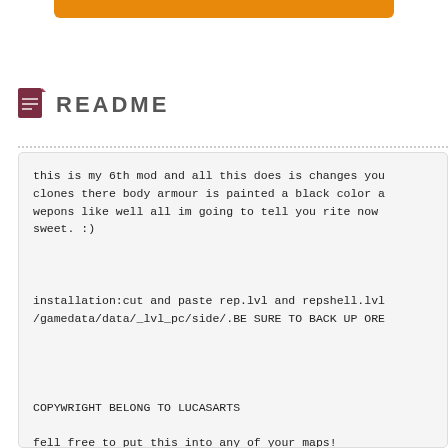[Figure (other): Orange rounded bar/button at top of page]
README
this is my 6th mod and all this does is changes you clones there body armour is painted a black color a wepons like well all im going to tell you rite now sweet. :)


installation:cut and paste rep.lvl and repshell.lvl /gamedata/data/_lvl_pc/side/.BE SURE TO BACK UP ORE




COPYWRIGHT BELONG TO LUCASARTS

fell free to put this into any of your maps!
BUT BE SURE TO GIVE ME SOME CREDIT!